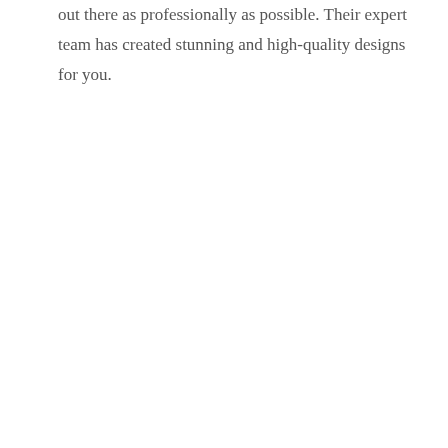out there as professionally as possible. Their expert team has created stunning and high-quality designs for you.